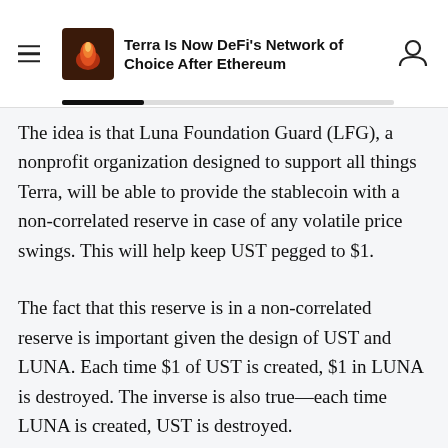Terra Is Now DeFi's Network of Choice After Ethereum
The idea is that Luna Foundation Guard (LFG), a nonprofit organization designed to support all things Terra, will be able to provide the stablecoin with a non-correlated reserve in case of any volatile price swings. This will help keep UST pegged to $1.
The fact that this reserve is in a non-correlated reserve is important given the design of UST and LUNA. Each time $1 of UST is created, $1 in LUNA is destroyed. The inverse is also true—each time LUNA is created, UST is destroyed.
This creates an interesting arbitrage opportunity. If